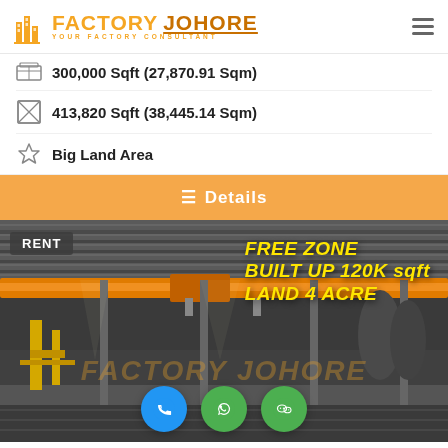FACTORY JOHORE - YOUR FACTORY CONSULTANT
300,000 Sqft (27,870.91 Sqm)
413,820 Sqft (38,445.14 Sqm)
Big Land Area
Details
[Figure (photo): Interior of a large industrial factory/warehouse with overhead orange cranes, steel roof trusses, and concrete flooring. Text overlays: RENT badge top-left, FREE ZONE / BUILT UP 120K sqft / LAND 4 ACRE in yellow italic top-right. Factory Johore watermark in center. Three FAB buttons at bottom: blue phone, green WhatsApp, green WeChat.]